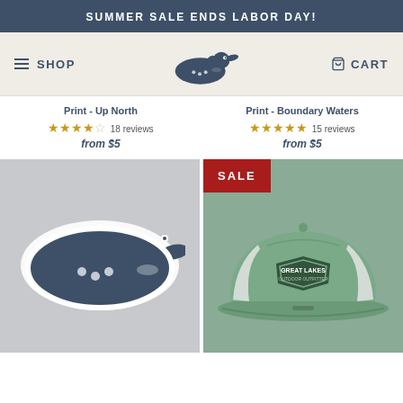SUMMER SALE ENDS LABOR DAY!
SHOP
[Figure (logo): Loon bird logo in navy blue, facing right, floating on water]
CART
Print - Up North
18 reviews
from $5
Print - Boundary Waters
15 reviews
from $5
[Figure (photo): Loon bird sticker with white border on gray background]
[Figure (photo): Green Great Lakes trucker hat with white mesh back, SALE badge overlay]